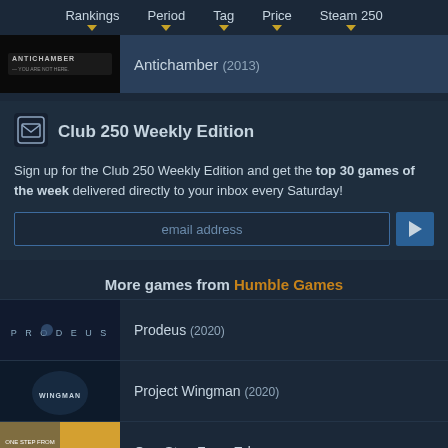Rankings | Period | Tag | Price | Steam 250
[Figure (screenshot): Antichamber game thumbnail - dark background with game logo]
Antichamber (2013)
[Figure (logo): Club 250 envelope icon]
Club 250 Weekly Edition
Sign up for the Club 250 Weekly Edition and get the top 30 games of the week delivered directly to your inbox every Saturday!
email address [input field]
More games from Humble Games
[Figure (screenshot): Prodeus game thumbnail]
Prodeus (2020)
[Figure (screenshot): Project Wingman game thumbnail]
Project Wingman (2020)
[Figure (screenshot): One Step From Eden game thumbnail]
One Step From Eden (2020)
[Figure (screenshot): Unpacking game thumbnail]
Unpacking (2021)
[Figure (screenshot): Forager game thumbnail]
Forager (2019)